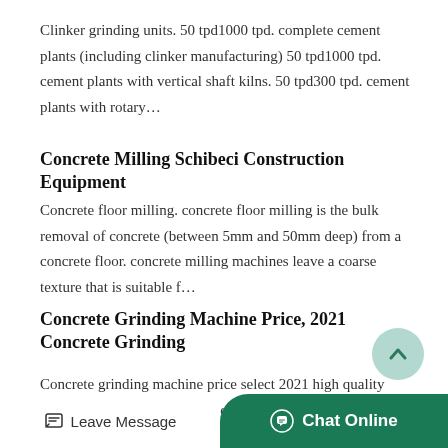Clinker grinding units. 50 tpd1000 tpd. complete cement plants (including clinker manufacturing) 50 tpd1000 tpd. cement plants with vertical shaft kilns. 50 tpd300 tpd. cement plants with rotary…
Concrete Milling Schibeci Construction Equipment
Concrete floor milling. concrete floor milling is the bulk removal of concrete (between 5mm and 50mm deep) from a concrete floor. concrete milling machines leave a coarse texture that is suitable f…
Concrete Grinding Machine Price, 2021 Concrete Grinding
Concrete grinding machine price select 2021 high quality concrete grinding machine price products in best price from certified chinese
Leave Message   Chat Online